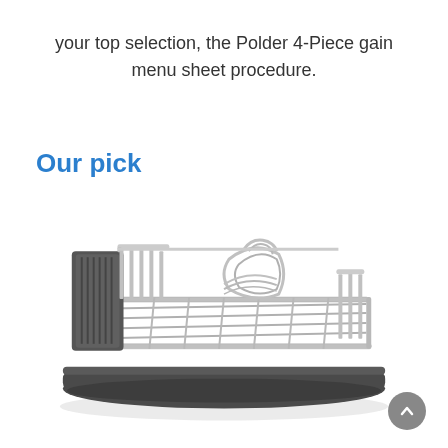your top selection, the Polder 4-Piece gain menu sheet procedure.
Our pick
[Figure (photo): A Polder 4-Piece dish rack with chrome wire rack, gray plastic utensil holder on the left, and a gray drip tray base, shown in a product photo on white background.]